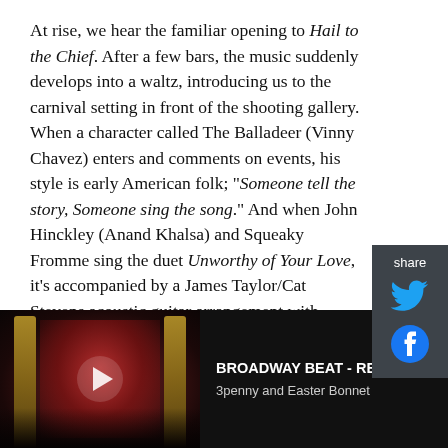At rise, we hear the familiar opening to Hail to the Chief. After a few bars, the music suddenly develops into a waltz, introducing us to the carnival setting in front of the shooting gallery. When a character called The Balladeer (Vinny Chavez) enters and comments on events, his style is early American folk; "Someone tell the story, Someone sing the song." And when John Hinckley (Anand Khalsa) and Squeaky Fromme sing the duet Unworthy of Your Love, it's accompanied by a James Taylor/Cat Stevens acoustic guitar arrangement with pleasing, melodic harmonies.
[Figure (other): Share sidebar with Twitter and Facebook icons on dark gray background]
[Figure (screenshot): Video thumbnail of Broadway theater interior with play button, labeled BROADWAY BEAT - RENT, 3penny and Easter Bonnet]